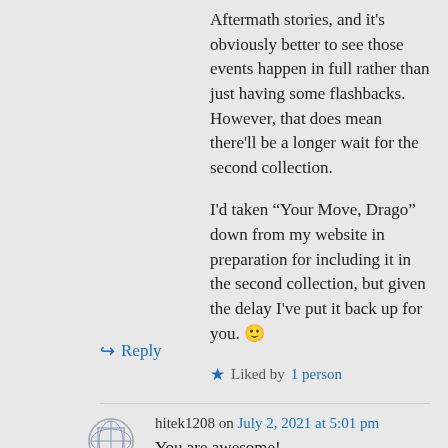Aftermath stories, and it's obviously better to see those events happen in full rather than just having some flashbacks. However, that does mean there'll be a longer wait for the second collection.
I'd taken “Your Move, Drago” down from my website in preparation for including it in the second collection, but given the delay I've put it back up for you. 🙂
★ Liked by 1 person
↳ Reply
hitek1208 on July 2, 2021 at 5:01 pm
You are awesome!